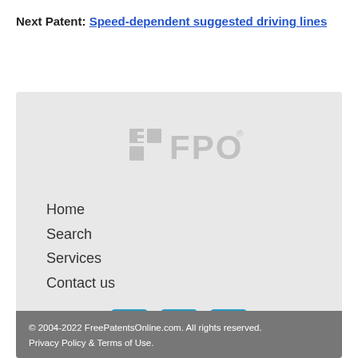Next Patent: Speed-dependent suggested driving lines
[Figure (logo): FPO (Free Patents Online) logo in gray]
Home
Search
Services
Contact us
[Figure (illustration): Social media icons: Twitter, LinkedIn, Email (blue rounded square buttons)]
© 2004-2022 FreePatentsOnline.com. All rights reserved. Privacy Policy & Terms of Use.